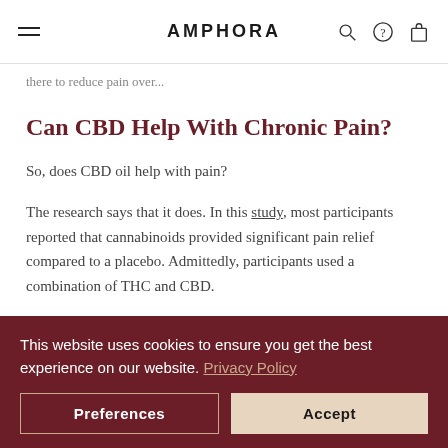AMPHORA
there to reduce pain over...
Can CBD Help With Chronic Pain?
So, does CBD oil help with pain?
The research says that it does. In this study, most participants reported that cannabinoids provided significant pain relief compared to a placebo. Admittedly, participants used a combination of THC and CBD.
This website uses cookies to ensure you get the best experience on our website. Privacy Policy
Preferences
Accept